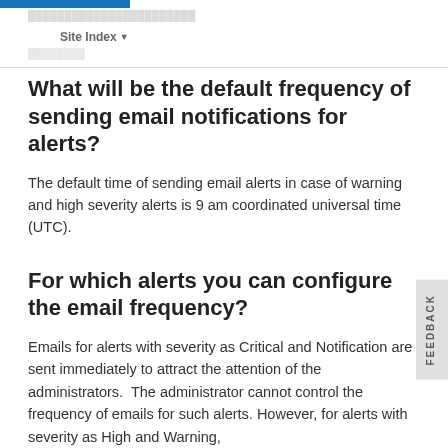Site Index
What will be the default frequency of sending email notifications for alerts?
The default time of sending email alerts in case of warning and high severity alerts is 9 am coordinated universal time (UTC).
For which alerts you can configure the email frequency?
Emails for alerts with severity as Critical and Notification are sent immediately to attract the attention of the administrators.  The administrator cannot control the frequency of emails for such alerts. However, for alerts with severity as High and Warning,